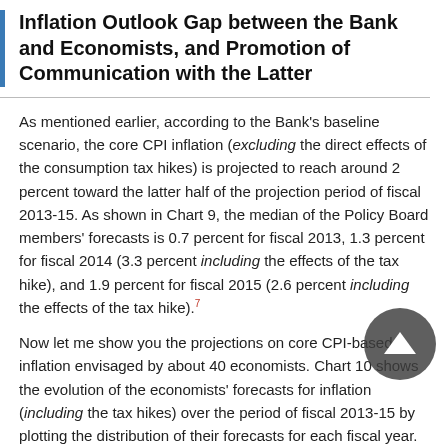Inflation Outlook Gap between the Bank and Economists, and Promotion of Communication with the Latter
As mentioned earlier, according to the Bank's baseline scenario, the core CPI inflation (excluding the direct effects of the consumption tax hikes) is projected to reach around 2 percent toward the latter half of the projection period of fiscal 2013-15. As shown in Chart 9, the median of the Policy Board members' forecasts is 0.7 percent for fiscal 2013, 1.3 percent for fiscal 2014 (3.3 percent including the effects of the tax hike), and 1.9 percent for fiscal 2015 (2.6 percent including the effects of the tax hike).7
Now let me show you the projections on core CPI-based inflation envisaged by about 40 economists. Chart 10 shows the evolution of the economists' forecasts for inflation (including the tax hikes) over the period of fiscal 2013-15 by plotting the distribution of their forecasts for each fiscal year. It reveals that the economists' forecasts for inflation were adjusted toward the higher levels with greater probability for fiscal 2013 as the observation point approached the end of the observation year concerned. A similar but more moderate pattern was present for fiscal 2014. The chart